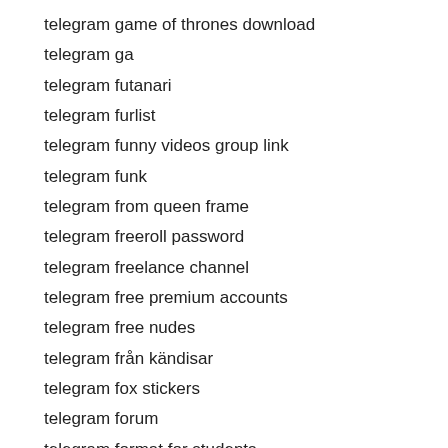telegram game of thrones download
telegram ga
telegram futanari
telegram furlist
telegram funny videos group link
telegram funk
telegram from queen frame
telegram freeroll password
telegram freelance channel
telegram free premium accounts
telegram free nudes
telegram från kändisar
telegram fox stickers
telegram forum
telegram format for students
telegram form pdf
telegram forex malaysia